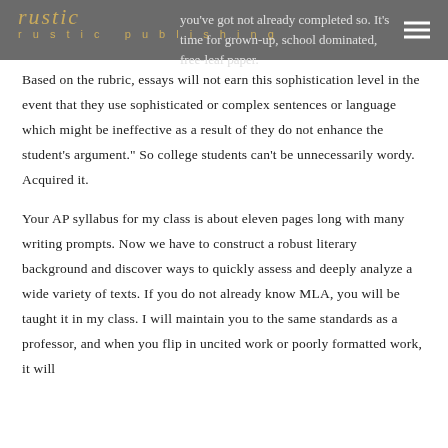rustic publishing | you've got not already completed so. It's time for grown-up, school dominated, free-leaf paper.
Based on the rubric, essays will not earn this sophistication level in the event that they use sophisticated or complex sentences or language which might be ineffective as a result of they do not enhance the student's argument." So college students can't be unnecessarily wordy. Acquired it.
Your AP syllabus for my class is about eleven pages long with many writing prompts. Now we have to construct a robust literary background and discover ways to quickly assess and deeply analyze a wide variety of texts. If you do not already know MLA, you will be taught it in my class. I will maintain you to the same standards as a professor, and when you flip in uncited work or poorly formatted work, it will